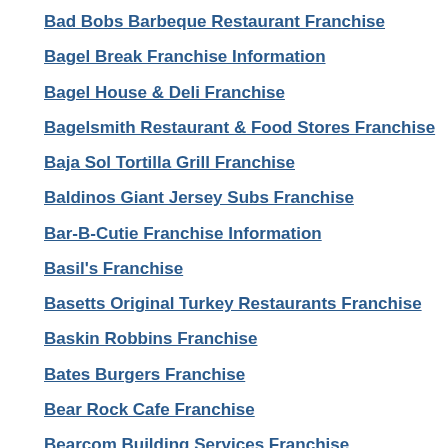Bad Bobs Barbeque Restaurant Franchise
Bagel Break Franchise Information
Bagel House & Deli Franchise
Bagelsmith Restaurant & Food Stores Franchise
Baja Sol Tortilla Grill Franchise
Baldinos Giant Jersey Subs Franchise
Bar-B-Cutie Franchise Information
Basil's Franchise
Basetts Original Turkey Restaurants Franchise
Baskin Robbins Franchise
Bates Burgers Franchise
Bear Rock Cafe Franchise
Bearcom Building Services Franchise
Beef O'Bradly's Family Sports Pub Franchise
[Figure (other): Too Hotties franchise ad thumbnail]
[Figure (other): CareBuilders At Home Franchise ad thumbnail]
[Figure (other): Strong Executive Business Franchise ad thumbnail]
[Figure (other): Bar-B-Clean Franchise ad thumbnail]
[Figure (other): Carlas Sandwiches and Burgers Franchise ad thumbnail]
[Figure (other): 1-800-GOT-JUNK Franchise ad thumbnail]